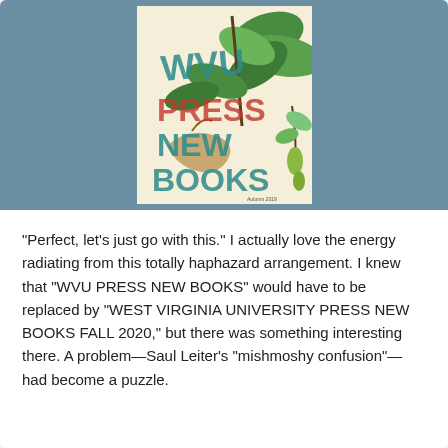[Figure (illustration): Book catalog cover image for WVU Press New Books, featuring botanical illustrations of leaves and plants on a cream background with teal/blue-grey banner behind it]
“Perfect, let’s just go with this.” I actually love the energy radiating from this totally haphazard arrangement. I knew that “WVU PRESS NEW BOOKS” would have to be replaced by “WEST VIRGINIA UNIVERSITY PRESS NEW BOOKS FALL 2020,” but there was something interesting there. A problem—Saul Leiter’s “mishmoshy confusion”—had become a puzzle.